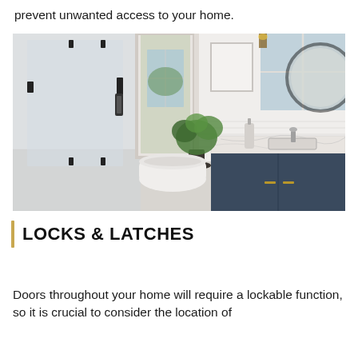prevent unwanted access to your home.
[Figure (photo): Bright modern bathroom interior with glass shower enclosure with black hardware, freestanding white bathtub, a small potted green plant, marble countertop with double sink and faucets, round black-framed mirror, white walls with shiplap wainscoting, and large windows letting in natural light.]
LOCKS & LATCHES
Doors throughout your home will require a lockable function, so it is crucial to consider the location of